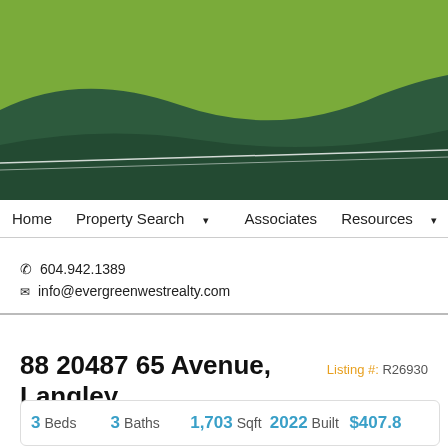[Figure (illustration): Green decorative wave header graphic with two tones of green — a lighter olive-green upper band and a darker forest green lower curved band, forming the website header background.]
Home   Property Search ▾   Associates   Resources ▾   Ab...
☎ 604.942.1389
✉ info@evergreenwestrealty.com
88 20487 65 Avenue, Langley   Listing #: R26930...
| Beds | Baths | Sqft | Built | Price |
| --- | --- | --- | --- | --- |
| 3 | 3 | 1,703 | 2022 | $407.8... |